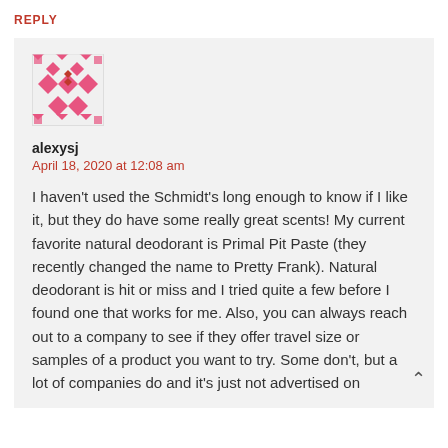REPLY
[Figure (illustration): Pink geometric mosaic avatar icon for user alexysj]
alexysj
April 18, 2020 at 12:08 am
I haven't used the Schmidt's long enough to know if I like it, but they do have some really great scents! My current favorite natural deodorant is Primal Pit Paste (they recently changed the name to Pretty Frank). Natural deodorant is hit or miss and I tried quite a few before I found one that works for me. Also, you can always reach out to a company to see if they offer travel size or samples of a product you want to try. Some don't, but a lot of companies do and it's just not advertised on